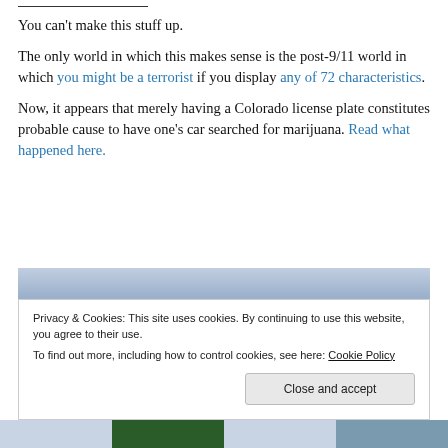You can't make this stuff up.
The only world in which this makes sense is the post-9/11 world in which you might be a terrorist if you display any of 72 characteristics.
Now, it appears that merely having a Colorado license plate constitutes probable cause to have one's car searched for marijuana. Read what happened here.
[Figure (photo): Sky background banner image with blue-gray gradient]
Privacy & Cookies: This site uses cookies. By continuing to use this website, you agree to their use.
To find out more, including how to control cookies, see here: Cookie Policy
[Figure (photo): Bottom strip with landscape imagery — sky, green tree/mountain, sky segments]